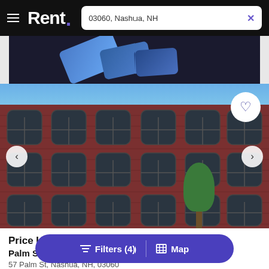Rent. — 03060, Nashua, NH
[Figure (photo): Advertisement banner showing blue credit cards against dark background]
[Figure (photo): Exterior photo of Palm Square brick apartment building, 4-story red brick with arched windows, blue sky, tree in foreground]
Price Un...
Palm Squ...
57 Palm St, Nashua, NH, 03060
Filters (4) | Map